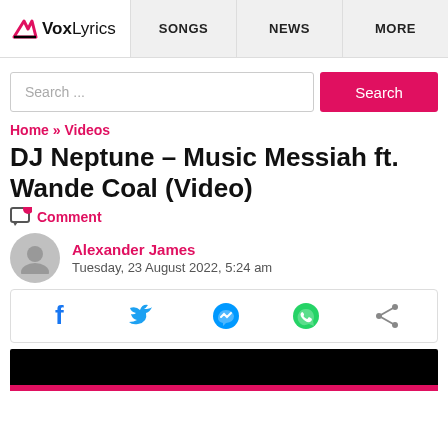VoxLyrics | SONGS | NEWS | MORE
Search ...
Home » Videos
DJ Neptune – Music Messiah ft. Wande Coal (Video)
Comment
Alexander James
Tuesday, 23 August 2022, 5:24 am
[Figure (other): Social share bar with Facebook, Twitter, Messenger, WhatsApp, and share icons]
[Figure (screenshot): Black video thumbnail with pink bar at bottom]